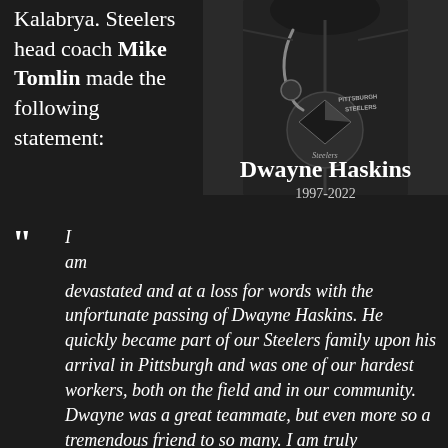Kalabrya. Steelers head coach Mike Tomlin made the following statement:
[Figure (photo): Black and white photo of a person from neck down wearing a Pittsburgh Steelers hoodie, showing the Steelers logo. Below the photo is a memorial graphic with the text 'Dwayne Haskins 1997-2022'.]
“ I am devastated and at a loss for words with the unfortunate passing of Dwayne Haskins. He quickly became part of our Steelers family upon his arrival in Pittsburgh and was one of our hardest workers, both on the field and in our community. Dwayne was a great teammate, but even more so a tremendous friend to so many. I am truly